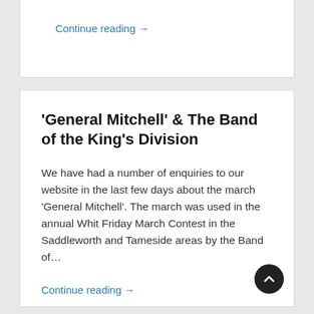Continue reading →
'General Mitchell' & The Band of the King's Division
We have had a number of enquiries to our website in the last few days about the march 'General Mitchell'. The march was used in the annual Whit Friday March Contest in the Saddleworth and Tameside areas by the Band of…
Continue reading →